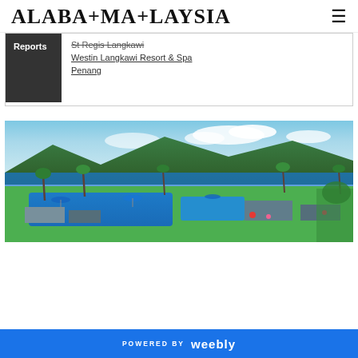ALABA+MA+LAYSIA
St Regis Langkawi
Westin Langkawi Resort & Spa
Penang
[Figure (photo): Aerial panoramic view of a tropical resort with swimming pools, palm trees, blue umbrellas, lush greenery, and a beachfront with mountains and blue sky in the background.]
POWERED BY weebly